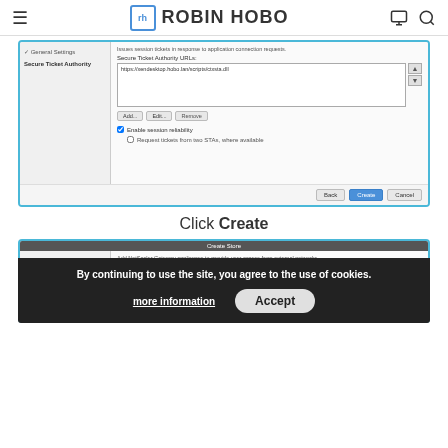ROBIN HOBO
[Figure (screenshot): Citrix/NetScaler configuration dialog showing Secure Ticket Authority settings with a URL field containing 'https://xendesktop.hobo.lan/scripts/ctxsta.dll', Add/Edit/Remove buttons, Enable session reliability checkbox, Request tickets from two STAs checkbox, and Back/Create/Cancel buttons]
Click Create
[Figure (screenshot): Second configuration dialog (Create Store) showing StoreFront section with Base URL field and Remote access with None radio option, partially obscured by a cookie consent banner]
By continuing to use the site, you agree to the use of cookies.
more information
Accept